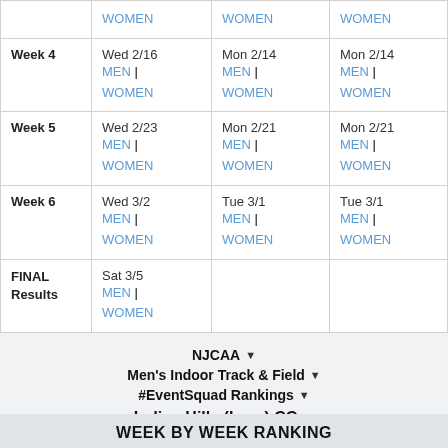|  | Col1 | Col2 | Col3 |
| --- | --- | --- | --- |
|  | WOMEN | WOMEN | WOMEN |
| Week 4 | Wed 2/16 MEN | WOMEN | Mon 2/14 MEN | WOMEN | Mon 2/14 MEN | WOMEN |
| Week 5 | Wed 2/23 MEN | WOMEN | Mon 2/21 MEN | WOMEN | Mon 2/21 MEN | WOMEN |
| Week 6 | Wed 3/2 MEN | WOMEN | Tue 3/1 MEN | WOMEN | Tue 3/1 MEN | WOMEN |
| FINAL Results | Sat 3/5 MEN | WOMEN |  |  |
NJCAA
Men's Indoor Track & Field
#EventSquad Rankings
Indian Hills (Iowa) CC
WEEK BY WEEK RANKING